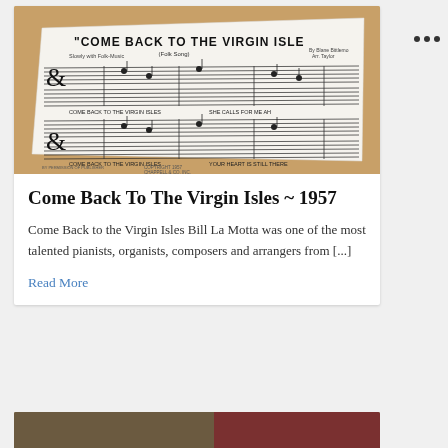[Figure (photo): A ceramic or porcelain dish with printed sheet music for 'Come Back to the Virgin Isles' (Folk Song), showing musical notation and lyrics, placed on a brown wooden surface. Copyright 1957, Chappell & Co. Inc., New York, N.Y.]
Come Back To The Virgin Isles ~ 1957
Come Back to the Virgin Isles Bill La Motta was one of the most talented pianists, organists, composers and arrangers from [...]
Read More
[Figure (photo): Partial view of a second card with a landscape photo visible at the bottom of the page.]